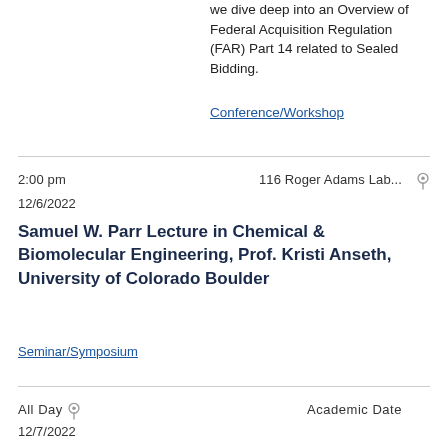we dive deep into an Overview of Federal Acquisition Regulation (FAR) Part 14 related to Sealed Bidding.
Conference/Workshop
2:00 pm   116 Roger Adams Lab...   12/6/2022
Samuel W. Parr Lecture in Chemical & Biomolecular Engineering, Prof. Kristi Anseth, University of Colorado Boulder
Seminar/Symposium
All Day   Academic Date   12/7/2022
2022 Fall Semester: Instruction Ends